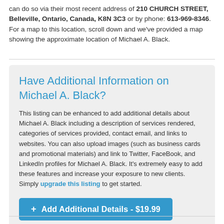can do so via their most recent address of 210 CHURCH STREET, Belleville, Ontario, Canada, K8N 3C3 or by phone: 613-969-8346. For a map to this location, scroll down and we've provided a map showing the approximate location of Michael A. Black.
Have Additional Information on Michael A. Black?
This listing can be enhanced to add additional details about Michael A. Black including a description of services rendered, categories of services provided, contact email, and links to websites. You can also upload images (such as business cards and promotional materials) and link to Twitter, FaceBook, and LinkedIn profiles for Michael A. Black. It's extremely easy to add these features and increase your exposure to new clients. Simply upgrade this listing to get started.
+ Add Additional Details - $19.99